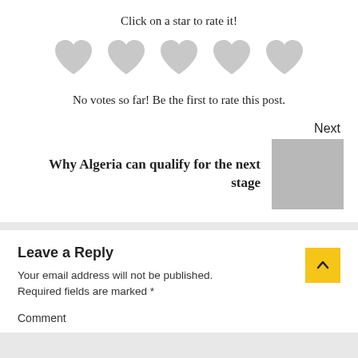Click on a star to rate it!
[Figure (illustration): Five grey heart icons in a row representing a rating system]
No votes so far! Be the first to rate this post.
Next
Why Algeria can qualify for the next stage
[Figure (photo): Grey placeholder thumbnail image]
Leave a Reply
Your email address will not be published. Required fields are marked *
Comment